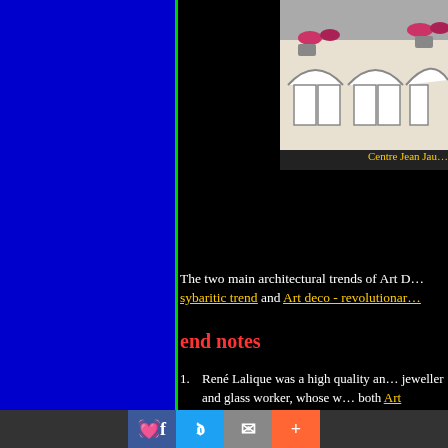[Figure (photo): Photo of a building facade with arched windows, appears to be Centre Jean Jaurès]
Centre Jean Jau…
The two main architectural trends of Art D… sybaritic trend and Art deco - revolutionar…
end notes
René Lalique was a high quality and jeweller and glass worker, whose w… both Art Nouveau and Art Deco. La… modern style of jewellry, using crys… lower valued jewel stones, stained g… characteristic gold framework. Lali… for his perfume bottles, vases and o… Lalique website shows many other Lalique's work.